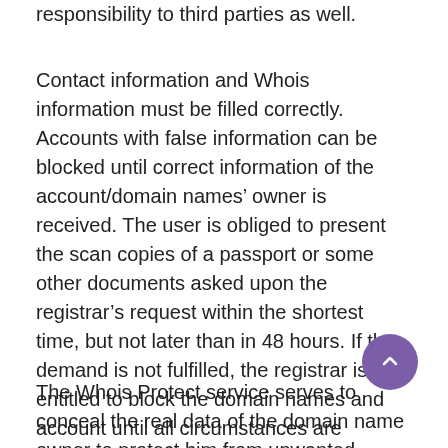responsibility to third parties as well.
Contact information and Whois information must be filled correctly. Accounts with false information can be blocked until correct information of the account/domain names’ owner is received. The user is obliged to present the scan copies of a passport or some other documents asked upon the registrar’s request within the shortest time, but not later than in 48 hours. If the demand is not fulfilled, the registrar is entitled to block the domain names and account until all circumstances are clarified.
The Whois Protect service serves to conceal the real data of the domain name owner to protect him from unwanted postal mailing, telephone calls and other forms of advertising performed against the will of domain name’s owner. However, Whois Protect can not be a reason or an instrument for breaking the current